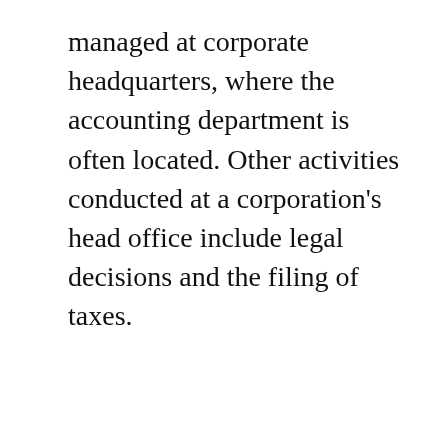managed at corporate headquarters, where the accounting department is often located. Other activities conducted at a corporation's head office include legal decisions and the filing of taxes.